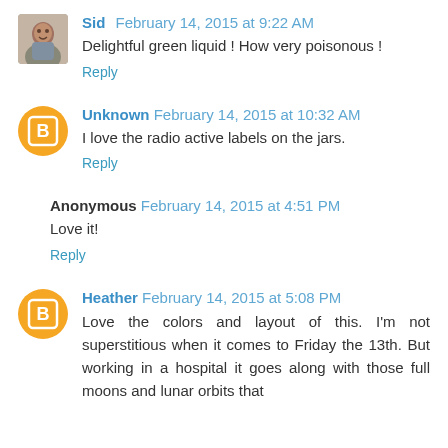Sid  February 14, 2015 at 9:22 AM
Delightful green liquid ! How very poisonous !
Reply
Unknown  February 14, 2015 at 10:32 AM
I love the radio active labels on the jars.
Reply
Anonymous  February 14, 2015 at 4:51 PM
Love it!
Reply
Heather  February 14, 2015 at 5:08 PM
Love the colors and layout of this. I'm not superstitious when it comes to Friday the 13th. But working in a hospital it goes along with those full moons and lunar orbits that